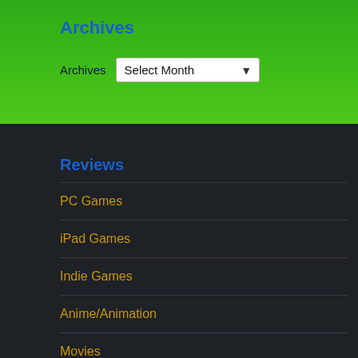Archives
Archives  Select Month
Reviews
PC Games
iPad Games
Indie Games
Anime/Animation
Movies
Interviews